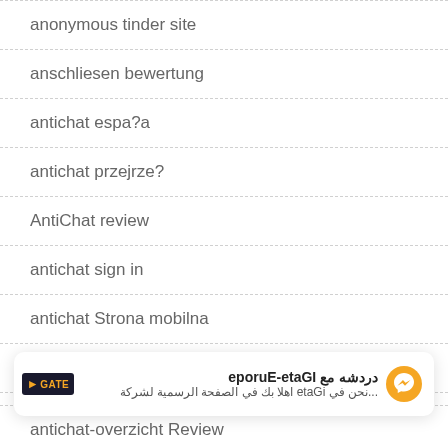anonymous tinder site
anschliesen bewertung
antichat espa?a
antichat przejrze?
AntiChat review
antichat sign in
antichat Strona mobilna
AntiChat visitors
[Figure (other): Chat banner for IGate-Europe with logo, Arabic text 'دردشه مع IGate-Europe' and subtitle '...نحن في iGate اهلا بك في الصفحة الرسمية لشركة', with a Messenger icon on the right.]
antichat-overzicht Review